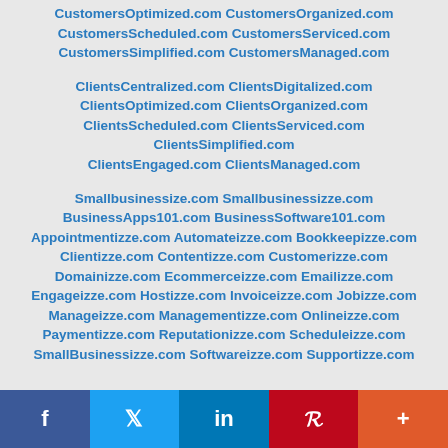CustomersOptimized.com CustomersOrganized.com CustomersScheduled.com CustomersServiced.com CustomersSimplified.com CustomersManaged.com
ClientsCentralized.com ClientsDigitalized.com ClientsOptimized.com ClientsOrganized.com ClientsScheduled.com ClientsServiced.com ClientsSimplified.com ClientsEngaged.com ClientsManaged.com
Smallbusinessize.com Smallbusinessizze.com BusinessApps101.com BusinessSoftware101.com Appointmentizze.com Automateizze.com Bookkeepizze.com Clientizze.com Contentizze.com Customerizze.com Domainizze.com Ecommerceizze.com Emailizze.com Engageizze.com Hostizze.com Invoiceizze.com Jobizze.com Manageizze.com Managementizze.com Onlineizze.com Paymentizze.com Reputationizze.com Scheduleizze.com SmallBusinessizze.com Softwareizze.com Supportizze.com
f  t  in  P  +